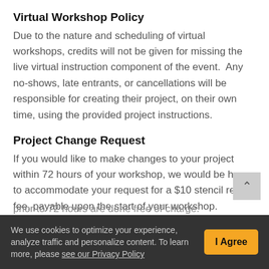Virtual Workshop Policy
Due to the nature and scheduling of virtual workshops, credits will not be given for missing the live virtual instruction component of the event.  Any no-shows, late entrants, or cancellations will be responsible for creating their project, on their own time, using the provided project instructions.
Project Change Request
If you would like to make changes to your project within 72 hours of your workshop, we would be happy to accommodate your request for a $10 stencil recut fee, payable upon the start of your workshop. Changes made prior to 72 hours are done free of charge.
We use cookies to optimize your experience, analyze traffic and personalize content. To learn more, please see our Privacy Policy